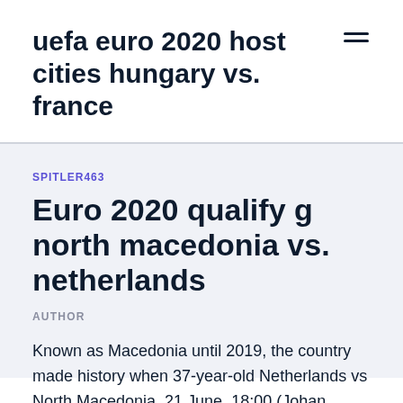uefa euro 2020 host cities hungary vs. france
SPITLER463
Euro 2020 qualify g north macedonia vs. netherlands
AUTHOR
Known as Macedonia until 2019, the country made history when 37-year-old Netherlands vs North Macedonia, 21 June, 18:00 (Johan Cruyff Arena, Amsterdam) What are the odds of the Netherlands